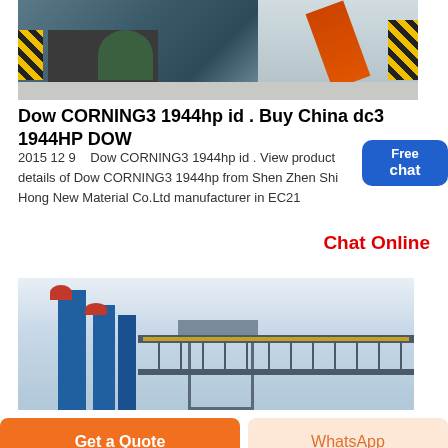[Figure (photo): Industrial machinery photograph showing dark equipment, green cylindrical component, orange conveyor element, hazard-striped safety markings, and gravel floor in a factory setting]
Dow CORNING3 1944hp id . Buy China dc3 1944HP DOW
2015 12 9    Dow CORNING3 1944hp id . View product details of Dow CORNING3 1944hp from Shen Zhen Shi Hong New Material Co.Ltd manufacturer in EC21
Chat Online
[Figure (photo): Industrial plant photograph showing blue vertical towers with red tops, metal scaffolding/bridge structure with yellow handrails, against a light blue sky]
Get a Quote
WhatsApp